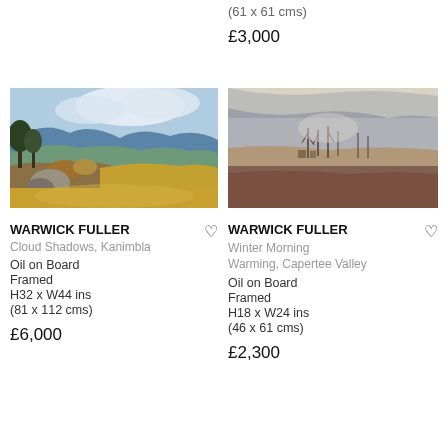(61 x 61 cms)
£3,000
[Figure (photo): Oil painting of a mountain landscape with blue mountains in background, trees, rocks, and warm golden foreground - Cloud Shadows, Kanimbla by Warwick Fuller]
WARWICK FULLER
Cloud Shadows, Kanimbla
Oil on Board
Framed
H32 x W44 ins
(81 x 112 cms)
£6,000
[Figure (photo): Oil painting of a misty winter morning landscape with mountains, bare trees, and earthy tones - Winter Morning Warming, Capertee Valley by Warwick Fuller]
WARWICK FULLER
Winter Morning Warming, Capertee Valley
Oil on Board
Framed
H18 x W24 ins
(46 x 61 cms)
£2,300